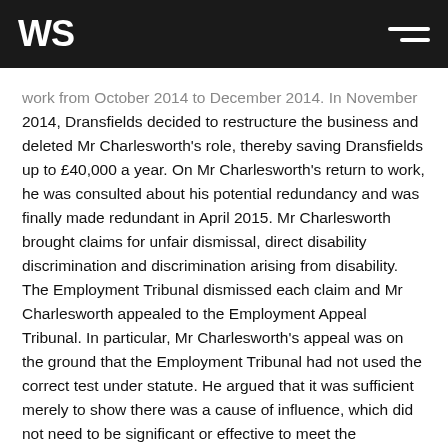WS
work from October 2014 to December 2014. In November 2014, Dransfields decided to restructure the business and deleted Mr Charlesworth's role, thereby saving Dransfields up to £40,000 a year. On Mr Charlesworth's return to work, he was consulted about his potential redundancy and was finally made redundant in April 2015. Mr Charlesworth brought claims for unfair dismissal, direct disability discrimination and discrimination arising from disability. The Employment Tribunal dismissed each claim and Mr Charlesworth appealed to the Employment Appeal Tribunal. In particular, Mr Charlesworth's appeal was on the ground that the Employment Tribunal had not used the correct test under statute. He argued that it was sufficient merely to show there was a cause of influence, which did not need to be significant or effective to meet the requirement that it was "because of something arising in consequence of disability".